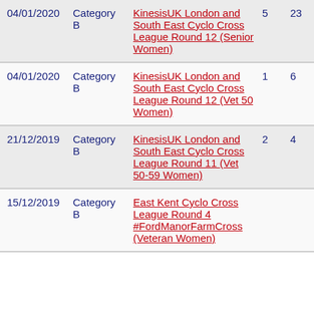| Date | Category | Event | Col1 | Col2 |
| --- | --- | --- | --- | --- |
| 04/01/2020 | Category B | KinesisUK London and South East Cyclo Cross League Round 12 (Senior Women) | 5 | 23 |
| 04/01/2020 | Category B | KinesisUK London and South East Cyclo Cross League Round 12 (Vet 50 Women) | 1 | 6 |
| 21/12/2019 | Category B | KinesisUK London and South East Cyclo Cross League Round 11 (Vet 50-59 Women) | 2 | 4 |
| 15/12/2019 | Category B | East Kent Cyclo Cross League Round 4 #FordManorFarmCross (Veteran Women) |  |  |